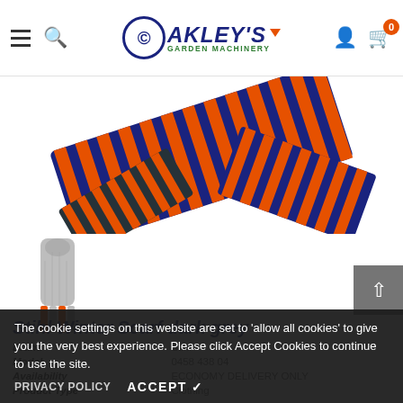Oakley's Garden Machinery
[Figure (photo): Orange and dark navy striped Stihl scarf folded and displayed from above]
[Figure (photo): Small thumbnail of grey Stihl winter scarf with orange striped ends]
Stihl Winter Scarf dark grey
| Brand | Stihl |
| Model | 0458 438 04 |
| Availability | ECONOMY DELIVERY ONLY |
| Product Type | Clothing |
The cookie settings on this website are set to 'allow all cookies' to give you the very best experience. Please click Accept Cookies to continue to use the site.
PRIVACY POLICY   ACCEPT ✓